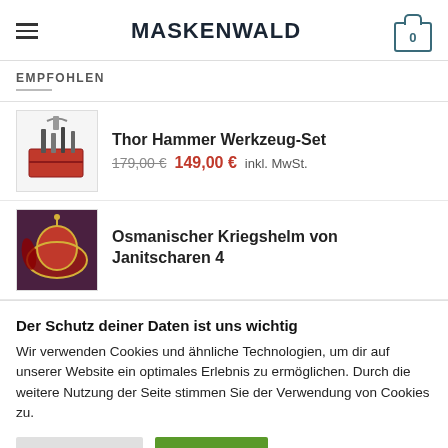MASKENWALD
EMPFOHLEN
Thor Hammer Werkzeug-Set
179,00 €  149,00 € inkl. MwSt.
Osmanischer Kriegshelm von Janitscharen 4
Der Schutz deiner Daten ist uns wichtig
Wir verwenden Cookies und ähnliche Technologien, um dir auf unserer Website ein optimales Erlebnis zu ermöglichen. Durch die weitere Nutzung der Seite stimmen Sie der Verwendung von Cookies zu.
Cookie Settings  Accept All